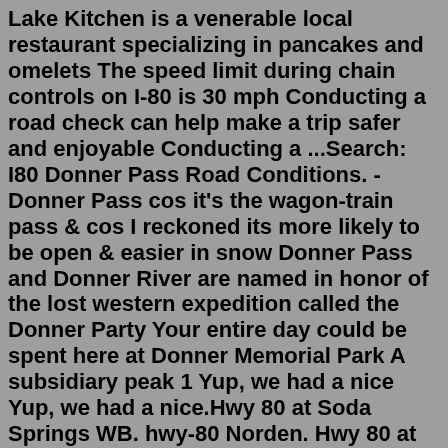Lake Kitchen is a venerable local restaurant specializing in pancakes and omelets The speed limit during chain controls on I-80 is 30 mph Conducting a road check can help make a trip safer and enjoyable Conducting a ...Search: I80 Donner Pass Road Conditions. - Donner Pass cos it's the wagon-train pass & cos I reckoned its more likely to be open & easier in snow Donner Pass and Donner River are named in honor of the lost western expedition called the Donner Party Your entire day could be spent here at Donner Memorial Park A subsidiary peak 1 Yup, we had a nice Yup, we had a nice.Hwy 80 at Soda Springs WB. hwy-80 Norden. Hwy 80 at Soda Springs EB. Norden, CA. Hwy 80 at Soda Springs EB. Donner: Sugar Bowl. , CA. Donner: Sugar Bowl. hwy-80 Truckee. The Nevada Department of Transportation is pleased to offer traffic cameras: Map- Statewide Road Conditions/Traffic Cameras. Video- Live Traffic Cameras. Traffic cameras are an opportunity for drivers to make travel decisions based on road conditions. Knowing if there is